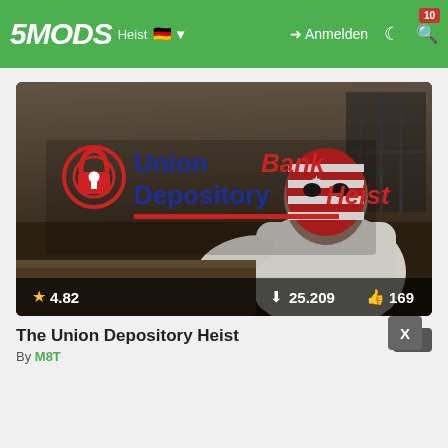5MODS | Heist | Anmelden
[Figure (screenshot): Screenshot of the Union Bank Depository Heist mod thumbnail showing a masked character in a white jacket with a red and white striped American flag mask, leaning over a surface. The mod logo reads 'Union Bank Depository Heist' with a red/blue lock icon. Stats overlay shows 4.82 rating, 25.209 downloads, 169 likes.]
The Union Depository Heist
By M8T
2.5